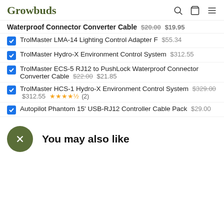Growbuds
Waterproof Connector Converter Cable $20.00 $19.95
TrolMaster LMA-14 Lighting Control Adapter F $55.34
TrolMaster Hydro-X Environment Control System $312.55
TrolMaster ECS-5 RJ12 to PushLock Waterproof Connector Converter Cable $22.00 $21.85
TrolMaster HCS-1 Hydro-X Environment Control System $329.00 $312.55 (2)
Autopilot Phantom 15' USB-RJ12 Controller Cable Pack $29.00
You may also like